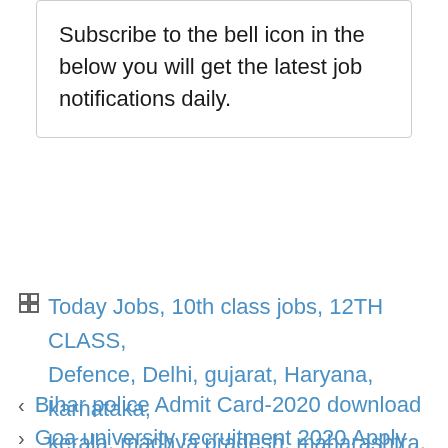Subscribe to the bell icon in the below you will get the latest job notifications daily.
Today Jobs, 10th class jobs, 12TH CLASS, Defence, Delhi, gujarat, Haryana, karnataka, kerala, madhya pradesh, maharashtra, punjab, Rajasthan, Tamilnadu, Telangana, Tripura, uttar pradesh, west bengal
Bihar police Admit Card-2020 download
Goa university recruitment 2020 Apply